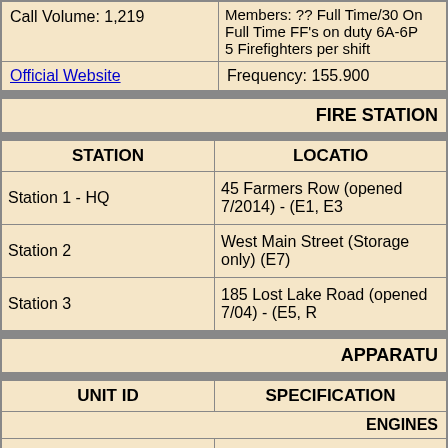|  |  |
| --- | --- |
| Call Volume: 1,219 | Members: ?? Full Time/30 On
Full Time FF's on duty 6A-6P
5 Firefighters per shift |
| Official Website | Frequency: 155.900 |
FIRE STATION
| STATION | LOCATION |
| --- | --- |
| Station 1 - HQ | 45 Farmers Row (opened 7/2014) - (E1, E3... |
| Station 2 | West Main Street (Storage only) (E7) |
| Station 3 | 185 Lost Lake Road (opened 7/04) - (E5, R... |
APPARATUS
| UNIT ID | SPECIFICATIONS |
| --- | --- |
| ENGINES |  |
| Engine 1 | 2013 Spartan Metro Star/4 Guys 1500/1000/20F |
| Engine 3 | 2020 Spartan/Smeal 1500/1000/30F |
|  |  |